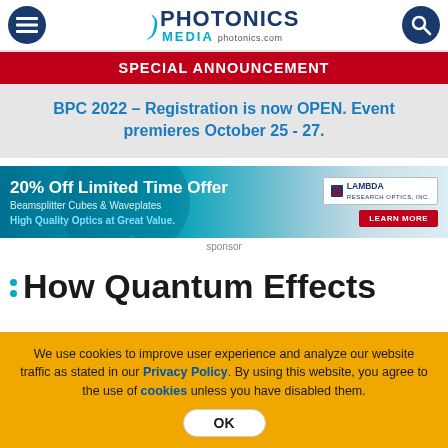PHOTONICS MEDIA photonics.com
SPECIAL ANNOUNCEMENT
BPC 2022 – Registration is now OPEN. Event premieres October 25 - 27.
[Figure (other): Lambda Research Optics advertisement: 20% Off Limited Time Offer, Beamsplitter Cubes & Waveplates, High Quality Optics at Great Value. LEARN MORE button.]
sponsor
How Quantum Effects
We use cookies to improve user experience and analyze our website traffic as stated in our Privacy Policy. By using this website, you agree to the use of cookies unless you have disabled them.